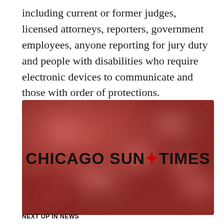including current or former judges, licensed attorneys, reporters, government employees, anyone reporting for jury duty and people with disabilities who require electronic devices to communicate and those with order of protections.
[Figure (logo): Chicago Sun-Times logo on a blurred reddish-brown abstract background]
NEXT UP IN NEWS